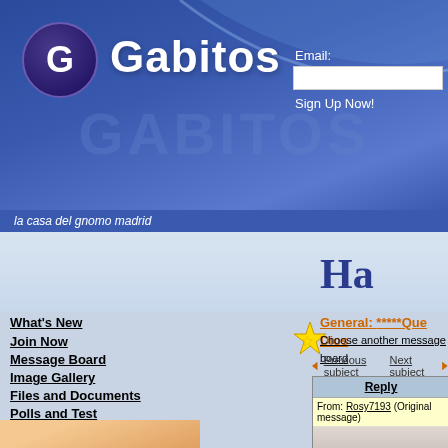[Figure (screenshot): Gabitos website header with blue gradient background, G logo circle, Gabitos text, email sign-up field, decorative wave, and watermark silhouette]
la casa del gnomo madrid
[Figure (illustration): Birthday banner with colorful balloons on left and right, and 'Ha' text in dark blue bold]
What's New
Join Now
Message Board
Image Gallery
Files and Documents
Polls and Test
Member List
General: *****Que Dios
Choose another message board
Previous subject   Next subject
| Reply |
| --- |
| From: Rosy7193  (Original message) |